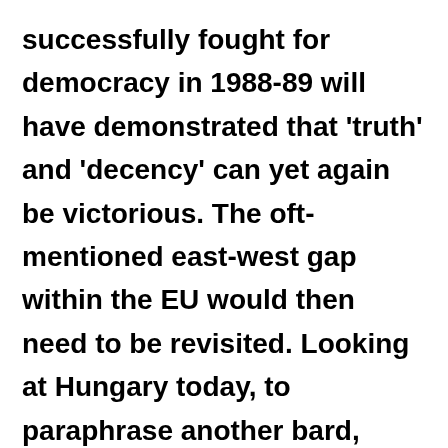successfully fought for democracy in 1988-89 will have demonstrated that 'truth' and 'decency' can yet again be victorious. The oft-mentioned east-west gap within the EU would then need to be revisited. Looking at Hungary today, to paraphrase another bard, there appears to be too much protest and not enough practical politics, but Hungary is by no means alone in this. But Central...